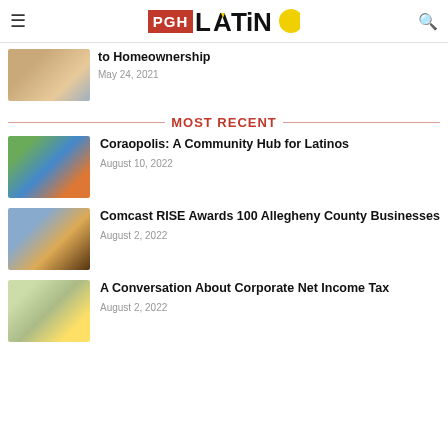PGH LATiNO
to Homeownership
May 24, 2021
MOST RECENT
Coraopolis: A Community Hub for Latinos
August 10, 2022
Comcast RISE Awards 100 Allegheny County Businesses
August 2, 2022
A Conversation About Corporate Net Income Tax
August 2, 2022